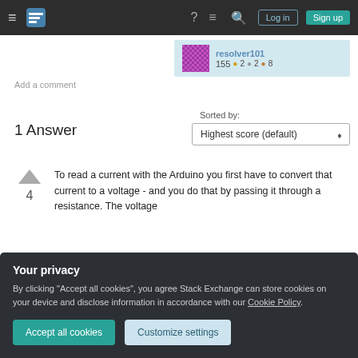Stack Exchange navigation bar with hamburger menu, logo, help, chat, search, Log in, Sign up buttons
[Figure (screenshot): User profile card showing avatar, username resolver101, reputation 155 with 2 gold, 2 silver, 8 bronze badges]
Add a comment
1 Answer
Sorted by:
Highest score (default)
To read a current with the Arduino you first have to convert that current to a voltage - and you do that by passing it through a resistance. The voltage
Your privacy
By clicking "Accept all cookies", you agree Stack Exchange can store cookies on your device and disclose information in accordance with our Cookie Policy.
Accept all cookies   Customize settings